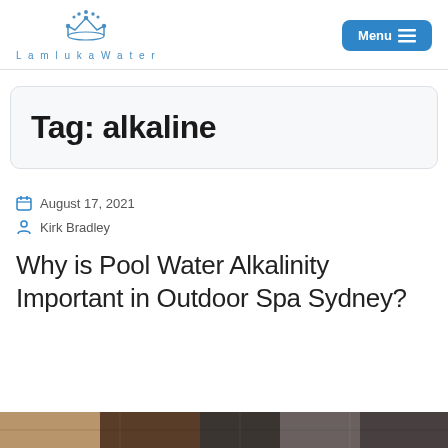LamlukaWater — Menu
Tag: alkaline
August 17, 2021
Kirk Bradley
Why is Pool Water Alkalinity Important in Outdoor Spa Sydney?
[Figure (photo): Partial view of an outdoor spa or pool image at the bottom of the page]